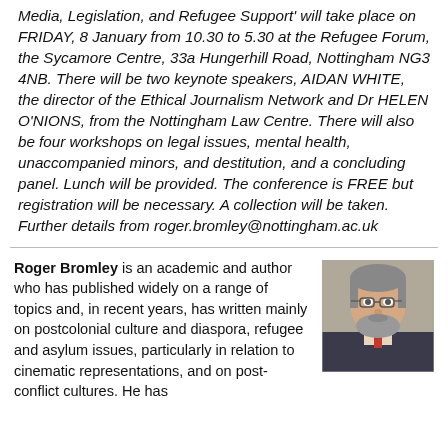Media, Legislation, and Refugee Support' will take place on FRIDAY, 8 January from 10.30 to 5.30 at the Refugee Forum, the Sycamore Centre, 33a Hungerhill Road, Nottingham NG3 4NB. There will be two keynote speakers, AIDAN WHITE, the director of the Ethical Journalism Network and Dr HELEN O'NIONS, from the Nottingham Law Centre. There will also be four workshops on legal issues, mental health, unaccompanied minors, and destitution, and a concluding panel. Lunch will be provided. The conference is FREE but registration will be necessary. A collection will be taken. Further details from roger.bromley@nottingham.ac.uk
Roger Bromley is an academic and author who has published widely on a range of topics and, in recent years, has written mainly on postcolonial culture and diaspora, refugee and asylum issues, particularly in relation to cinematic representations, and on post-conflict cultures. He has
[Figure (photo): Headshot photo of Roger Bromley, a middle-aged man with grey hair and a beard, wearing glasses and a suit with a red tie.]